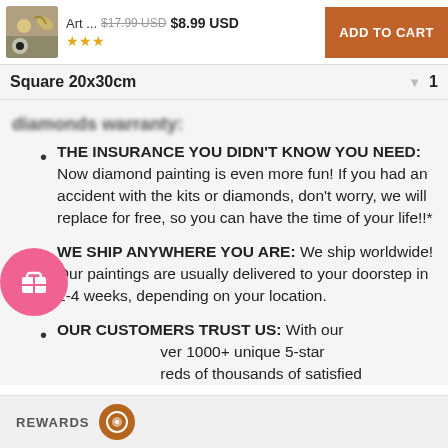[Figure (screenshot): Product thumbnail image of art diamond painting kit]
Art ... $17.99 USD $8.99 USD ADD TO CART ★★★
Square 20x30cm  1
diamonds warranty:
THE INSURANCE YOU DIDN'T KNOW YOU NEED: Now diamond painting is even more fun! If you had an accident with the kits or diamonds, don't worry, we will replace for free, so you can have the time of your life!!*
WE SHIP ANYWHERE YOU ARE: We ship worldwide! Our paintings are usually delivered to your doorstep in 2-4 weeks, depending on your location.
OUR CUSTOMERS TRUST US: With our ver 1000+ unique 5-star reds of thousands of satisfied
REWARDS